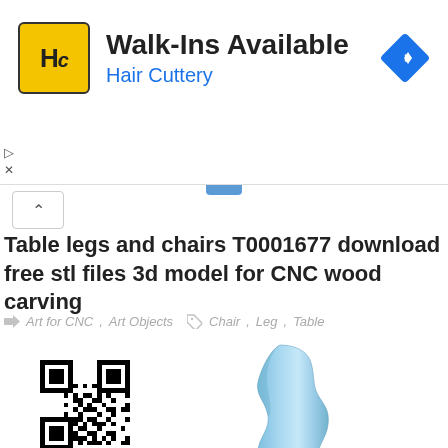[Figure (infographic): Hair Cuttery advertisement banner with yellow HC logo, 'Walk-Ins Available' title, blue navigation diamond icon]
Table legs and chairs T0001677 download free stl files 3d model for CNC wood carving
Art for CNC, Art Objects   Chair, Leg, Table
[Figure (other): QR code square barcode]
[Figure (photo): 3D rendered blue table leg with floral carving design, CNC wood carving model]